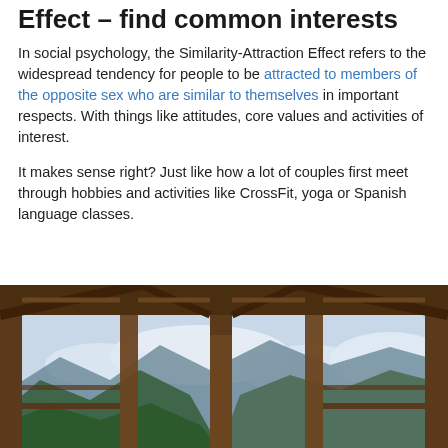Effect – find common interests
In social psychology, the Similarity-Attraction Effect refers to the widespread tendency for people to be attracted to members of the opposite sex who are similar to themselves in important respects. With things like attitudes, core values and activities of interest.
It makes sense right? Just like how a lot of couples first meet through hobbies and activities like CrossFit, yoga or Spanish language classes.
[Figure (photo): A wooden pavilion structure viewed from inside, looking out through large windows at a dramatic mountain and cloud landscape with green forested hills.]